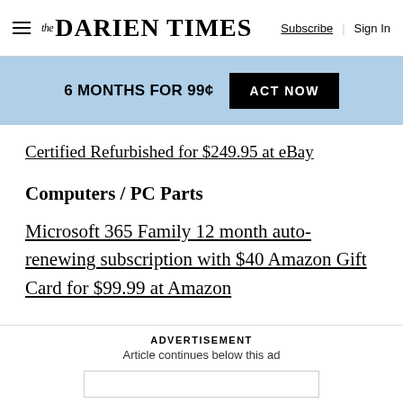The Darien Times | Subscribe | Sign In
6 MONTHS FOR 99¢  ACT NOW
Certified Refurbished for $249.95 at eBay
Computers / PC Parts
Microsoft 365 Family 12 month auto-renewing subscription with $40 Amazon Gift Card for $99.99 at Amazon
ADVERTISEMENT
Article continues below this ad